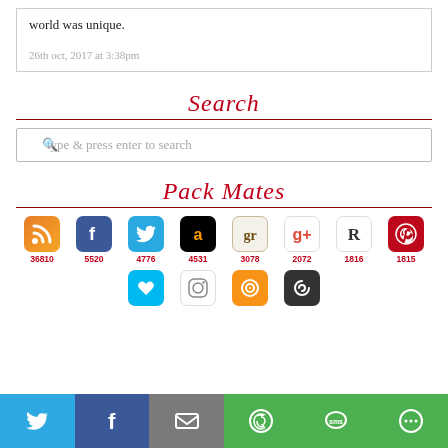world was unique.
26th oct, 2017 at 3:38pm
Search
type & press enter to search
Pack Mates
[Figure (infographic): Row of social media platform icons (RSS, Facebook, Twitter, Amazon, Goodreads, Google+, Readability, Pinterest) each with a follower count below in red: 36810, 5520, 4776, 4531, 3078, 2072, 1816, 1815]
[Figure (infographic): Second row of social media icons (heart/Bloglovin, Instagram, unknown orange, Audible/Kindle)]
[Figure (infographic): Share bar at bottom with Twitter, Facebook, Email, WhatsApp, SMS, More buttons]